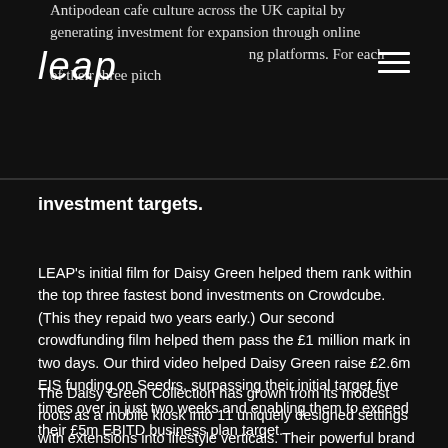Antipodean cafe culture across the UK capital by generating investment for expansion through online crowdfunding platforms. For each of their three pitches, LEAP's crowdfunding videos have helped them smash
investment targets.
LEAP's initial film for Daisy Green helped them rank within the top three fastest bond investments on Crowdcube. (This they repaid two years early.) Our second crowdfunding film helped them pass the £1 million mark in two days. Our third video helped Daisy Green raise £2.6m EIS funding on Seedrs, surpassing their initial target five times over in just two weeks and enabling them to exceed their £5m EBITD business plan target.
The Daisy Green Collection has grown from its modest roots as a mobile kiosk into 11 uniquely designed settings with extensions into lifestyle verticals. Their powerful brand story and vision could not have been achieved